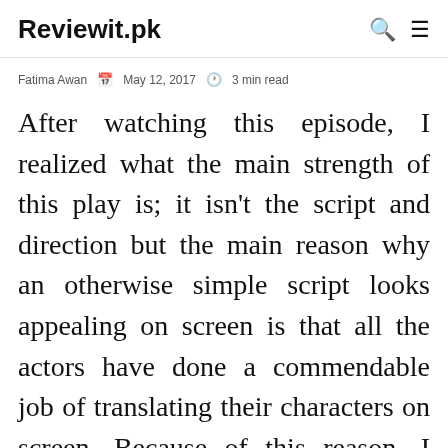Reviewit.pk
Fatima Awan  📅 May 12, 2017  🕐 3 min read
After watching this episode, I realized what the main strength of this play is; it isn't the script and direction but the main reason why an otherwise simple script looks appealing on screen is that all the actors have done a commendable job of translating their characters on screen. Because of this reason, I never had any problem connecting to these characters and what they went through. Even though